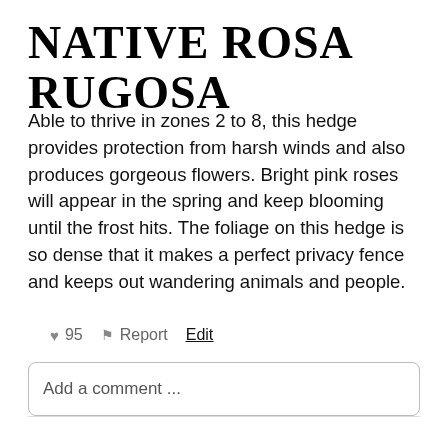NATIVE ROSA RUGOSA
Able to thrive in zones 2 to 8, this hedge provides protection from harsh winds and also produces gorgeous flowers. Bright pink roses will appear in the spring and keep blooming until the frost hits. The foliage on this hedge is so dense that it makes a perfect privacy fence and keeps out wandering animals and people.
♥ 95   ⚑ Report   Edit
Add a comment ...